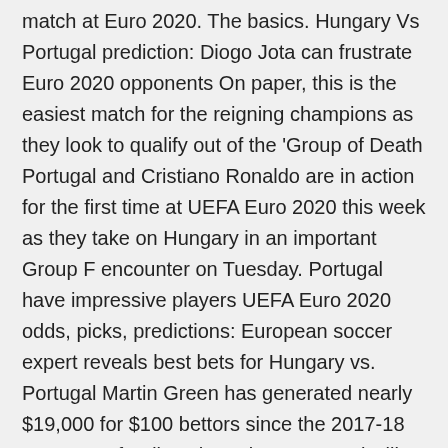match at Euro 2020. The basics. Hungary Vs Portugal prediction: Diogo Jota can frustrate Euro 2020 opponents On paper, this is the easiest match for the reigning champions as they look to qualify out of the 'Group of Death Portugal and Cristiano Ronaldo are in action for the first time at UEFA Euro 2020 this week as they take on Hungary in an important Group F encounter on Tuesday. Portugal have impressive players UEFA Euro 2020 odds, picks, predictions: European soccer expert reveals best bets for Hungary vs. Portugal Martin Green has generated nearly $19,000 for $100 bettors since the 2017-18 season Defending champions Portugal will begin their title defence on Tuesday when they face Hungary in their opening fixture of UEFA EURO 2020. The Selecaos won the last edition of the tournament in 2016, beating France in the final...